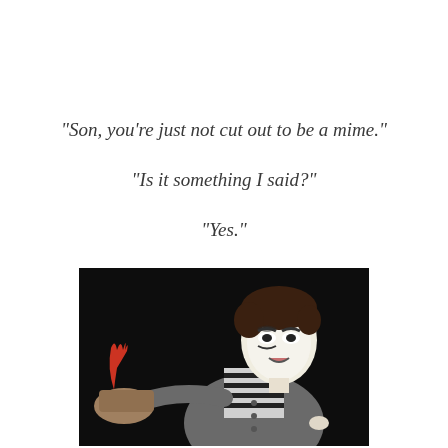“Son, you’re just not cut out to be a mime.”
“Is it something I said?”
“Yes.”
[Figure (photo): A mime performer with white face paint, dark eye makeup, wearing a striped shirt and grey jacket, holding a cap with a red feather, against a black background.]